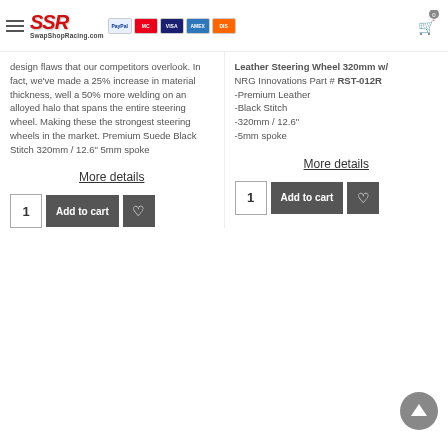SwapShopRacing.com — navigation header with logo, payment icons, cart
design flaws that our competitors overlook. In fact, we've made a 25% increase in material thickness, well a 50% more welding on an alloyed halo that spans the entire steering wheel. Making these the strongest steering wheels in the market. Premium Suede Black Stitch 320mm / 12.6" 5mm spoke
Leather Steering Wheel 320mm w/ NRG Innovations Part # RST-012R
-Premium Leather
-Black Stitch
-320mm / 12.6"
-5mm spoke
More details
More details
1
Add to cart
1
Add to cart